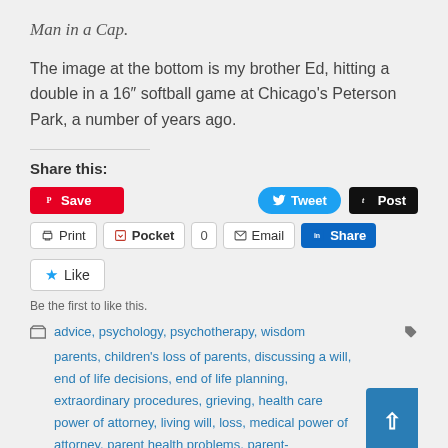Man in a Cap.
The image at the bottom is my brother Ed, hitting a double in a 16″ softball game at Chicago’s Peterson Park, a number of years ago.
Share this:
[Figure (screenshot): Social share buttons: Pinterest Save, Tweet, Post (Tumblr), Print, Pocket (0), Email, LinkedIn Share, Like button, tags list]
Be the first to like this.
advice, psychology, psychotherapy, wisdom
parents, children’s loss of parents, discussing a will, end of life decisions, end of life planning, extraordinary procedures, grieving, health care power of attorney, living will, loss, medical power of attorney, parent health problems, parent-